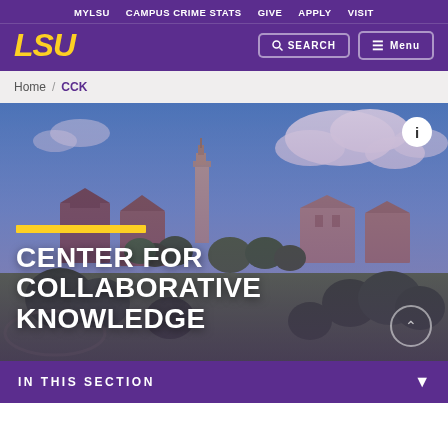MYLSU   CAMPUS CRIME STATS   GIVE   APPLY   VISIT
[Figure (logo): LSU logo in yellow italic bold text on purple background with Search and Menu buttons]
Home / CCK
[Figure (photo): Aerial photo of LSU campus showing buildings, trees, and green lawn under blue sky with clouds. Overlaid with yellow accent bar and large white bold text: CENTER FOR COLLABORATIVE KNOWLEDGE]
CENTER FOR COLLABORATIVE KNOWLEDGE
IN THIS SECTION